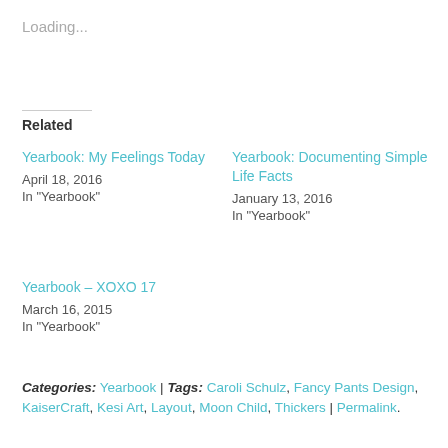Loading...
Related
Yearbook: My Feelings Today
April 18, 2016
In "Yearbook"
Yearbook: Documenting Simple Life Facts
January 13, 2016
In "Yearbook"
Yearbook – XOXO 17
March 16, 2015
In "Yearbook"
Categories: Yearbook | Tags: Caroli Schulz, Fancy Pants Design, KaiserCraft, Kesi Art, Layout, Moon Child, Thickers | Permalink.